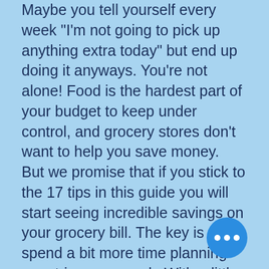Maybe you tell yourself every week "I'm not going to pick up anything extra today" but end up doing it anyways. You're not alone! Food is the hardest part of your budget to keep under control, and grocery stores don't want to help you save money. But we promise that if you stick to the 17 tips in this guide you will start seeing incredible savings on your grocery bill. The key is to spend a bit more time planning your trip every week. With a little knowledge you'll be a cost-cutting pro in no time!
1. Buy veggies and cheese in bulk
Now that stores like Costco have become popular, we've gotten used to buying our groceries in huge sizes to save money. The one part of the store...